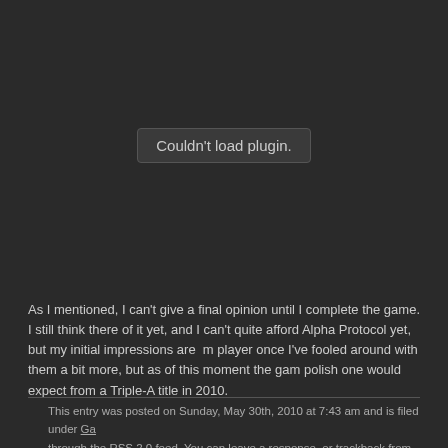[Figure (other): Embedded plugin area showing 'Couldn't load plugin.' message in a rounded button-like box on dark background]
As I mentioned, I can't give a final opinion until I complete the game. I still think there of it yet, and I can't quite afford Alpha Protocol yet, but my initial impressions are m player once I've fooled around with them a bit more, but as of this moment the gam polish one would expect from a Triple-A title in 2010.
This entry was posted on Sunday, May 30th, 2010 at 7:43 am and is filed under Ga through the RSS 2.0 feed. You can leave a response, or trackback from your own site.